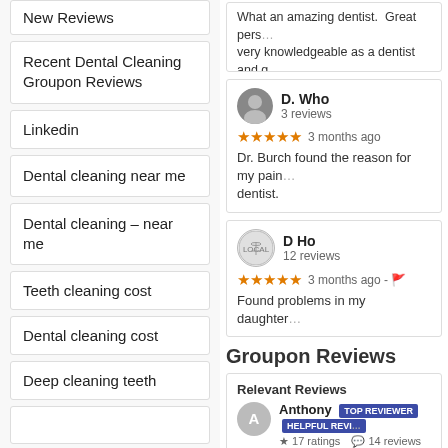New Reviews
Recent Dental Cleaning Groupon Reviews
Linkedin
Dental cleaning near me
Dental cleaning – near me
Teeth cleaning cost
Dental cleaning cost
Deep cleaning teeth
What an amazing dentist. Great pers... very knowledgeable as a dentist and g... teeth. I went in with a Groupon and h... bringing my whole family to him.
D. Who
3 reviews
★★★★★ 3 months ago
Dr. Burch found the reason for my pain... dentist.
D Ho
12 reviews
★★★★★ 3 months ago - 
Found problems in my daughter...
Groupon Reviews
Relevant Reviews
Anthony TOP REVIEWER HELPFUL REVI...
★ 17 ratings  14 reviews  1 p...